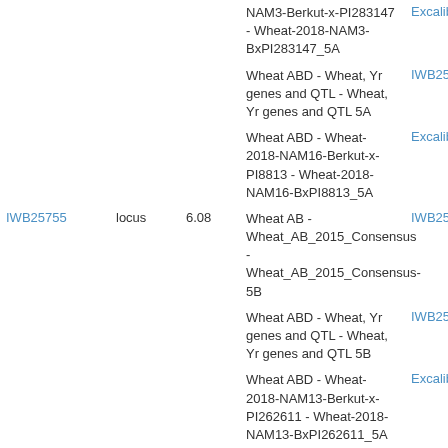| Marker | Type | Value | Map | Link |
| --- | --- | --- | --- | --- |
|  |  |  | NAM3-Berkut-x-PI283147 - Wheat-2018-NAM3-BxPI283147_5A | Excalib |
|  |  |  | Wheat ABD - Wheat, Yr genes and QTL - Wheat, Yr genes and QTL 5A | IWB25 |
|  |  |  | Wheat ABD - Wheat-2018-NAM16-Berkut-x-PI8813 - Wheat-2018-NAM16-BxPI8813_5A | Excalib |
| IWB25755 | locus | 6.08 | Wheat AB - Wheat_AB_2015_Consensus - Wheat_AB_2015_Consensus-5B | IWB25 |
|  |  |  | Wheat ABD - Wheat, Yr genes and QTL - Wheat, Yr genes and QTL 5B | IWB25 |
|  |  |  | Wheat ABD - Wheat-2018-NAM13-Berkut-x-PI262611 - Wheat-2018-NAM13-BxPI262611_5A | Excalib |
|  |  |  | Wheat ABD - Wheat-2018-NAM29-Berkut-x-PI220431 - Wheat-2018-NAM29-BxPI220431_5A | Excalib |